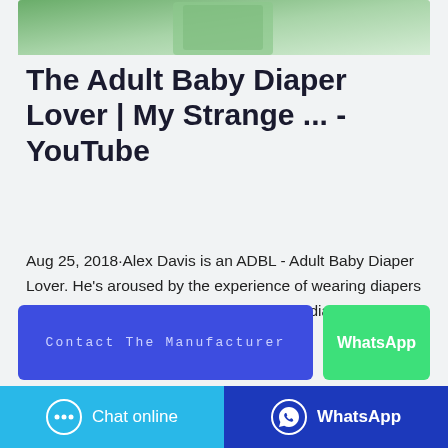[Figure (photo): Thumbnail image of a green product package]
The Adult Baby Diaper Lover | My Strange ... - YouTube
Aug 25, 2018·Alex Davis is an ADBL - Adult Baby Diaper Lover. He's aroused by the experience of wearing diapers - all kinds of diapers - mostly soiled baby diapers. His...
[Figure (screenshot): Contact The Manufacturer button (blue) and WhatsApp button (green)]
[Figure (screenshot): Chat online button (light blue) and WhatsApp button (dark blue)]